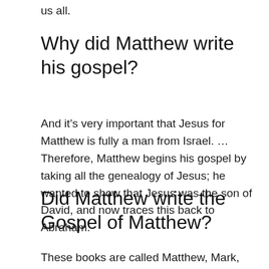us all.
Why did Matthew write his gospel?
And it’s very important that Jesus for Matthew is fully a man from Israel. … Therefore, Matthew begins his gospel by taking all the genealogy of Jesus; he wanted to show that Jesus was the son of David, and now traces this back to Abraham.
Did Matthew write the Gospel of Matthew?
These books are called Matthew, Mark, Luke, and John because they were traditionally